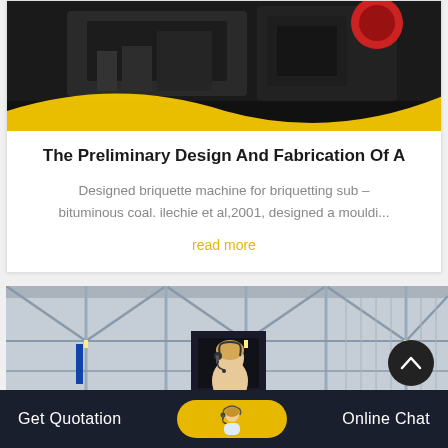[Figure (photo): Industrial briquette machine equipment on dark background with yellow wave design element at bottom]
The Preliminary Design And Fabrication Of A
Designed briquette machine for briquetting sub – bituminous coal. ilechie et al,2001, designed a mouldi...
read more
[Figure (photo): Factory interior with high ceiling, industrial lighting, and a customer service representative with headset]
Get Quotation   Online Chat